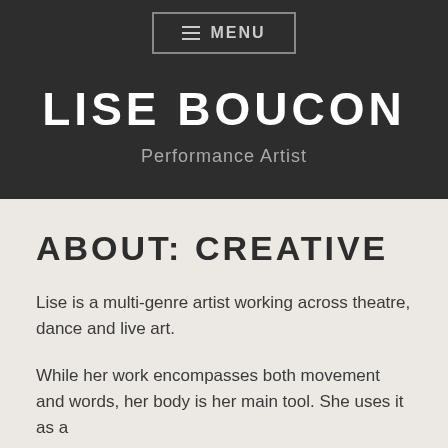☰ MENU
LISE BOUCON
Performance Artist
ABOUT: CREATIVE
Lise is a multi-genre artist working across theatre, dance and live art.
While her work encompasses both movement and words, her body is her main tool. She uses it as a